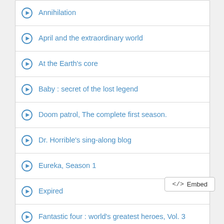Annihilation
April and the extraordinary world
At the Earth's core
Baby : secret of the lost legend
Doom patrol, The complete first season.
Dr. Horrible's sing-along blog
Eureka, Season 1
Expired
Fantastic four : world's greatest heroes, Vol. 3
</> Embed